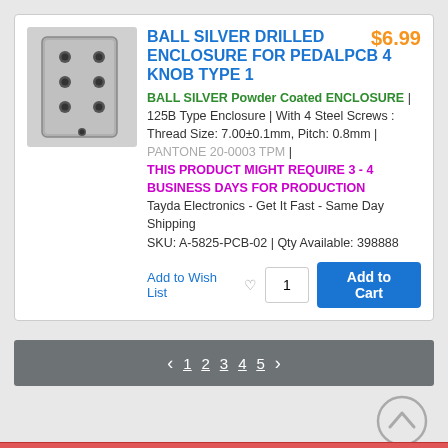[Figure (photo): Gray drilled metal enclosure box with multiple holes on top surface]
BALL SILVER DRILLED ENCLOSURE FOR PEDALPCB 4 KNOB TYPE 1
$6.99
BALL SILVER Powder Coated ENCLOSURE | 125B Type Enclosure | With 4 Steel Screws : Thread Size: 7.00±0.1mm, Pitch: 0.8mm | PANTONE 20-0003 TPM | THIS PRODUCT MIGHT REQUIRE 3 - 4 BUSINESS DAYS FOR PRODUCTION Tayda Electronics - Get It Fast - Same Day Shipping SKU: A-5825-PCB-02 | Qty Available: 398888
Add to Wish List  1  Add to Cart
< 1 2 3 4 5 >